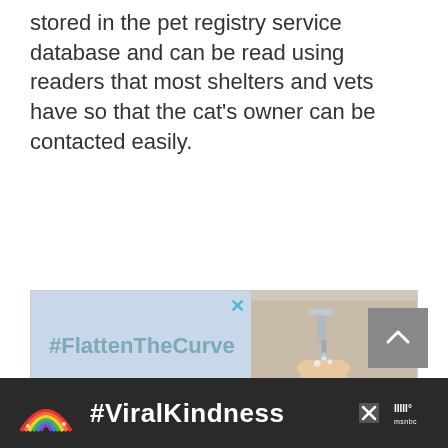stored in the pet registry service database and can be read using readers that most shelters and vets have so that the cat's owner can be contacted easily.
[Figure (screenshot): Advertisement banner for #FlattenTheCurve showing text on blue-grey background on the left and a person washing hands at a faucet on the right, with a close (X) button in the top right corner.]
[Figure (screenshot): Scroll-to-top button: a grey square with an upward-pointing chevron arrow.]
[Figure (screenshot): Bottom advertisement banner on dark background featuring a rainbow illustration, the hashtag #ViralKindness in white bold text, a close X button, and the MSNBC logo.]